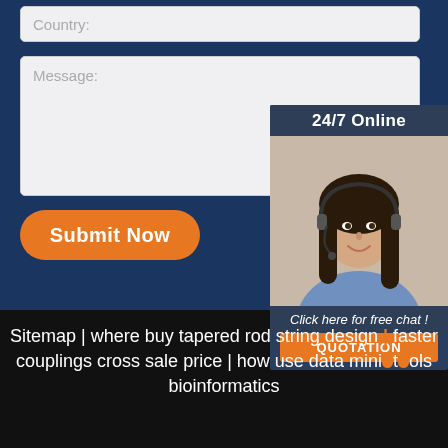[Figure (screenshot): Country input field (form element) with placeholder text 'Country:']
[Figure (screenshot): Message textarea (form element) with placeholder text 'Message:']
[Figure (screenshot): Orange 'Submit Now' button]
[Figure (infographic): 24/7 Online chat widget showing a customer service representative with headset, 'Click here for free chat!' text and orange QUOTATION button]
Sitemap | where buy tapered rod string design | faster couplings cross sale price | how use data mining tools bioinformatics